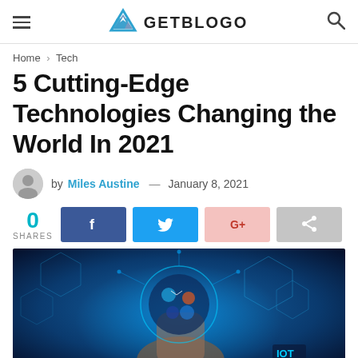GETBLOGO
Home > Tech
5 Cutting-Edge Technologies Changing the World In 2021
by Miles Austine — January 8, 2021
0 SHARES
[Figure (photo): Hand holding a glowing sphere with technology and IoT icons overlaid on a dark blue digital background]